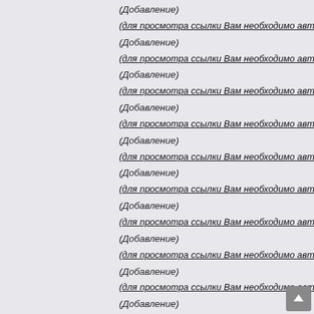(Добавление)
(для просмотра ссылки Вам необходимо автори
(Добавление)
(для просмотра ссылки Вам необходимо автори
(Добавление)
(для просмотра ссылки Вам необходимо автори
(Добавление)
(для просмотра ссылки Вам необходимо автори
(Добавление)
(для просмотра ссылки Вам необходимо автори
(Добавление)
(для просмотра ссылки Вам необходимо автори
(Добавление)
(для просмотра ссылки Вам необходимо автори
(Добавление)
(для просмотра ссылки Вам необходимо автори
(Добавление)
(для просмотра ссылки Вам необходимо автори
(Добавление)
(для просмотра ссылки Вам необходимо автори
(Добавление)
(для просмотра ссылки Вам необходимо автори
(Добавление)